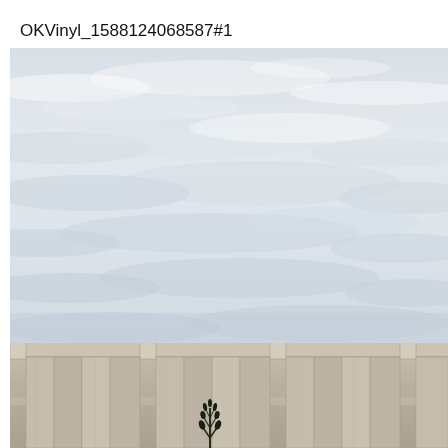OKVinyl_1588124068587#1
[Figure (photo): Outdoor photo of a beige/tan vinyl privacy fence with vertical boards and square post caps. The fence spans the lower third of the image. Above the fence is an overcast sky with scattered clouds in light gray and white tones. A small dark plant or shrub is visible in front of the fence at the center.]